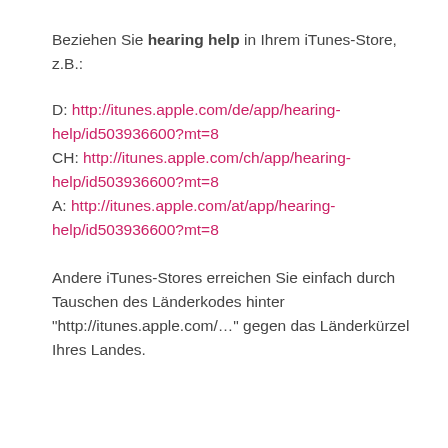Beziehen Sie hearing help in Ihrem iTunes-Store, z.B.:
D: http://itunes.apple.com/de/app/hearing-help/id503936600?mt=8
CH: http://itunes.apple.com/ch/app/hearing-help/id503936600?mt=8
A: http://itunes.apple.com/at/app/hearing-help/id503936600?mt=8
Andere iTunes-Stores erreichen Sie einfach durch Tauschen des Länderkodes hinter "http://itunes.apple.com/…" gegen das Länderkürzel Ihres Landes.